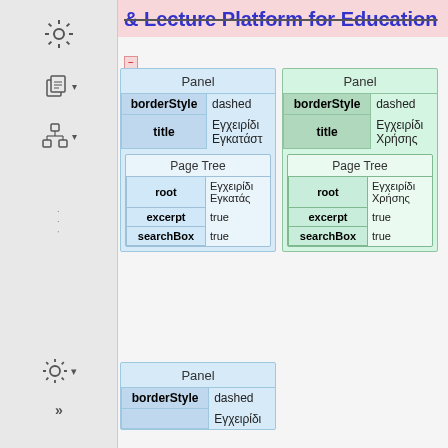& Lecture Platform for Education
[Figure (screenshot): UI screenshot showing two side-by-side panel configuration blocks (blue and green) each containing Panel properties (borderStyle: dashed, title: Εγχειρίδι...) and nested Page Tree blocks (root, excerpt: true, searchBox: true). A third partial blue Panel is visible at bottom.]